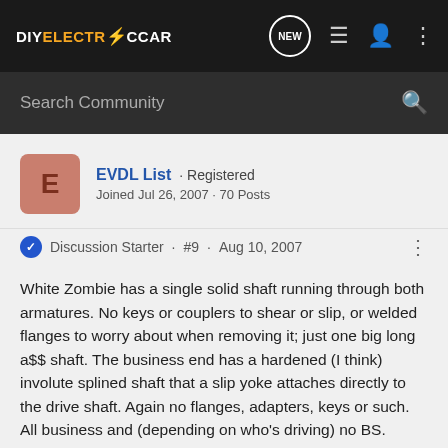DIYELECTRiCCAR · Navigation bar with NEW, list, user, and menu icons
Search Community
[Figure (other): User avatar: letter E on salmon/terracotta rounded square background]
EVDL List · Registered
Joined Jul 26, 2007 · 70 Posts
Discussion Starter · #9 · Aug 10, 2007
White Zombie has a single solid shaft running through both armatures. No keys or couplers to shear or slip, or welded flanges to worry about when removing it; just one big long a$$ shaft. The business end has a hardened (I think) involute splined shaft that a slip yoke attaches directly to the drive shaft. Again no flanges, adapters, keys or such. All business and (depending on who's driving) no BS.